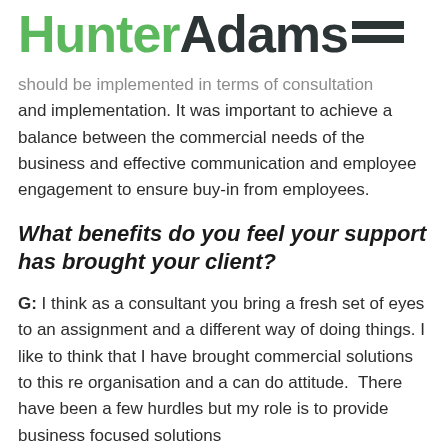HunterAdams
should be implemented in terms of consultation and implementation. It was important to achieve a balance between the commercial needs of the business and effective communication and employee engagement to ensure buy-in from employees.
What benefits do you feel your support has brought your client?
G: I think as a consultant you bring a fresh set of eyes to an assignment and a different way of doing things. I like to think that I have brought commercial solutions to this re organisation and a can do attitude.  There have been a few hurdles but my role is to provide business focused solutions